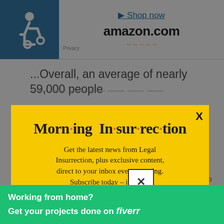[Figure (screenshot): Amazon advertisement banner with wheelchair accessibility icon, 'Shop now' link, amazon.com logo, and Privacy label]
...Overall, an average of nearly 59,000 people
[Figure (infographic): Yellow popup modal for Morning Insurrection newsletter subscription with orange JOIN NOW button, X close button, overlaying a dimmed page background]
margins.
[Figure (infographic): Fiverr green advertisement banner: 'Working from home? Get your projects done on fiverr']
Perha... came when a seven-foot-tall sculpture of a